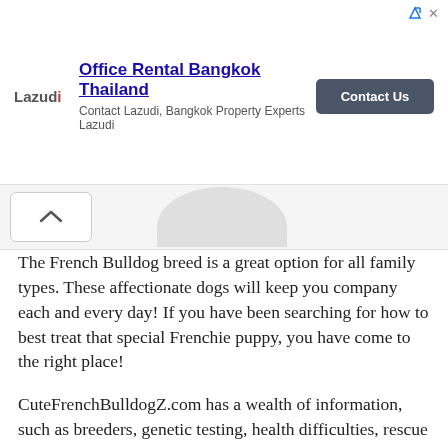[Figure (screenshot): Advertisement banner for Lazudi - Office Rental Bangkok Thailand with a Contact Us button and navigation arrows]
[Figure (photo): Partial view of a dog image (French Bulldog) showing the top of its head in gray tones, with a chevron/up arrow button on the left]
The French Bulldog breed is a great option for all family types. These affectionate dogs will keep you company each and every day! If you have been searching for how to best treat that special Frenchie puppy, you have come to the right place!
CuteFrenchBulldogZ.com has a wealth of information, such as breeders, genetic testing, health difficulties, rescue organizations, and much more besides. I will share every step of the process and my best secrets as a breeder who is well educated and experienced.